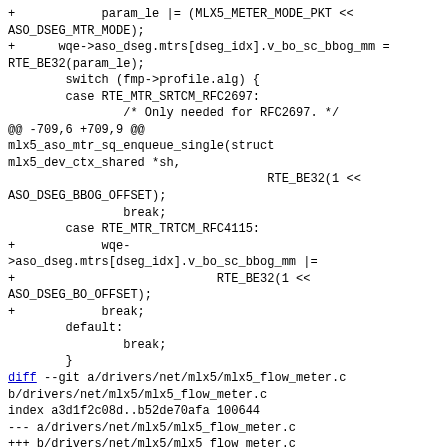code diff showing changes to mlx5 driver files including param_le, wqe->aso_dseg.mtrs, switch statement for fmp->profile.alg with cases for RTE_MTR_SRTCM_RFC2697 and RTE_MTR_TRTCM_RFC4115, and diff header for mlx5_flow_meter.c